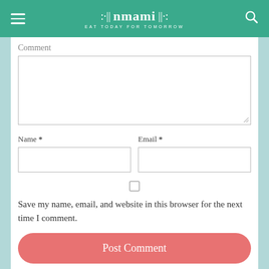nmami — EAT TODAY FOR TOMORROW
Comment
[Figure (screenshot): Empty comment textarea input field]
Name *
[Figure (screenshot): Empty Name text input field]
Email *
[Figure (screenshot): Empty Email text input field]
Save my name, email, and website in this browser for the next time I comment.
Post Comment